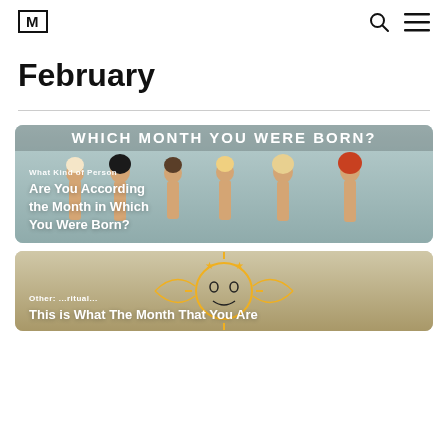[M] logo, search icon, menu icon
February
[Figure (illustration): Article card: illustration of six women figures in different body types and hair colors with text overlay 'What Kind of Person Are You According the Month in Which You Were Born?' and banner 'WHICH MONTH YOU WERE BORN?']
[Figure (illustration): Article card: ornate sun/moon mystical illustration with text overlay 'Other: ...ritual... This is What The Month That You Are']